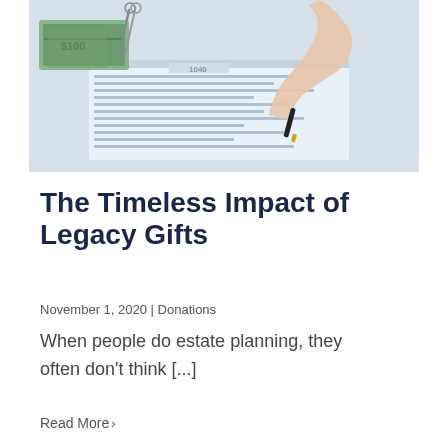[Figure (photo): A hand holding a pen over a 1040 tax form with dollar bills and a pair of scissors nearby.]
The Timeless Impact of Legacy Gifts
November 1, 2020 | Donations
When people do estate planning, they often don't think [...]
Read More >